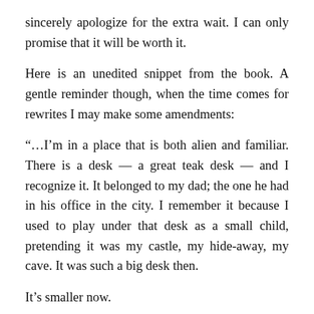sincerely apologize for the extra wait. I can only promise that it will be worth it.
Here is an unedited snippet from the book. A gentle reminder though, when the time comes for rewrites I may make some amendments:
“…I’m in a place that is both alien and familiar. There is a desk — a great teak desk — and I recognize it. It belonged to my dad; the one he had in his office in the city. I remember it because I used to play under that desk as a small child, pretending it was my castle, my hide-away, my cave. It was such a big desk then.
It’s smaller now.
I remember sitting across from my dad at that same desk when I told him I wanted to be a lawyer like him.